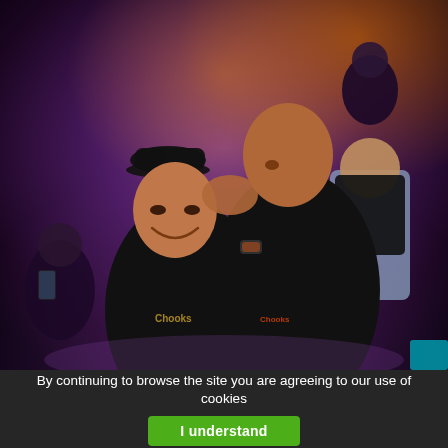[Figure (photo): Two men in black t-shirts embracing on a stage at an event. The man on the left wears a black baseball cap and a 'Chooks' branded shirt, smiling broadly. The man on the right leans in whispering or kissing the other on the cheek. Background shows an audience and colorful event lighting with purple/orange tones.]
By continuing to browse the site you are agreeing to our use of cookies
I understand